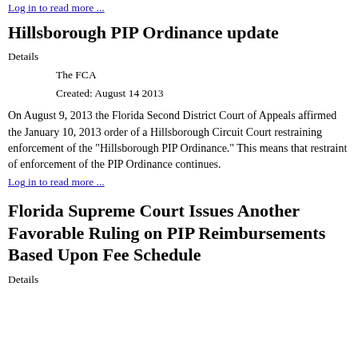Log in to read more ...
Hillsborough PIP Ordinance update
Details
    The FCA
    Created: August 14 2013
On August 9, 2013 the Florida Second District Court of Appeals affirmed the January 10, 2013 order of a Hillsborough Circuit Court restraining enforcement of the “Hillsborough PIP Ordinance.” This means that restraint of enforcement of the PIP Ordinance continues.
Log in to read more ...
Florida Supreme Court Issues Another Favorable Ruling on PIP Reimbursements Based Upon Fee Schedule
Details